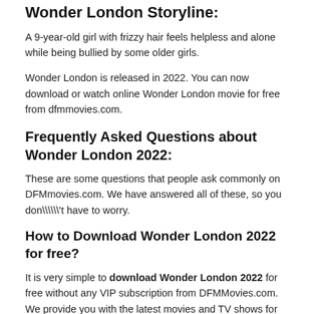Wonder London Storyline:
A 9-year-old girl with frizzy hair feels helpless and alone while being bullied by some older girls.
Wonder London is released in 2022. You can now download or watch online Wonder London movie for free from dfmmovies.com.
Frequently Asked Questions about Wonder London 2022:
These are some questions that people ask commonly on DFMmovies.com. We have answered all of these, so you don\\\\'t have to worry.
How to Download Wonder London 2022 for free?
It is very simple to download Wonder London 2022 for free without any VIP subscription from DFMMovies.com. We provide you with the latest movies and TV shows for free on DFM Movies.